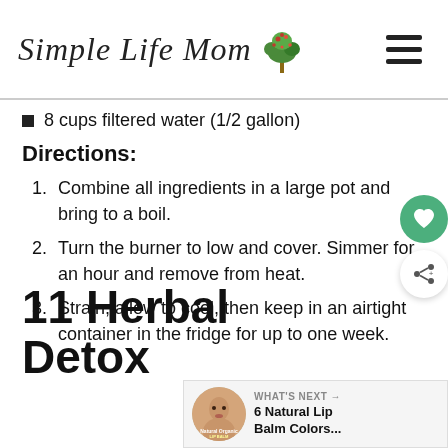Simple Life Mom
8 cups filtered water (1/2 gallon)
Directions:
1. Combine all ingredients in a large pot and bring to a boil.
2. Turn the burner to low and cover. Simmer for an hour and remove from heat.
3. Strain, allow to cool, then keep in an airtight container in the fridge for up to one week.
11 Herbal Detox
WHAT'S NEXT → 6 Natural Lip Balm Colors...